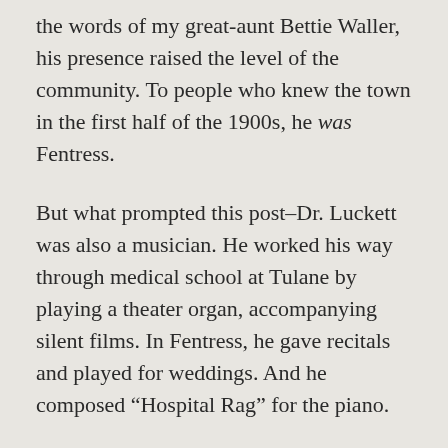the words of my great-aunt Bettie Waller, his presence raised the level of the community. To people who knew the town in the first half of the 1900s, he was Fentress.
But what prompted this post–Dr. Luckett was also a musician. He worked his way through medical school at Tulane by playing a theater organ, accompanying silent films. In Fentress, he gave recitals and played for weddings. And he composed “Hospital Rag” for the piano.